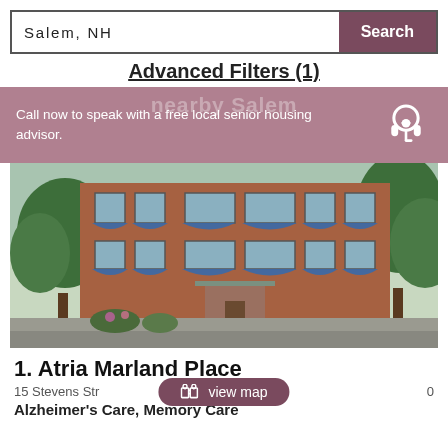Salem, NH
Search
Advanced Filters (1)
Call now to speak with a free local senior housing advisor.
[Figure (photo): Exterior photo of a large multi-story brick building with blue awnings over the windows, green trees in the foreground and to the right, and a driveway in front.]
1. Atria Marland Place
15 Stevens Str... 0
view map
Alzheimer's Care, Memory Care